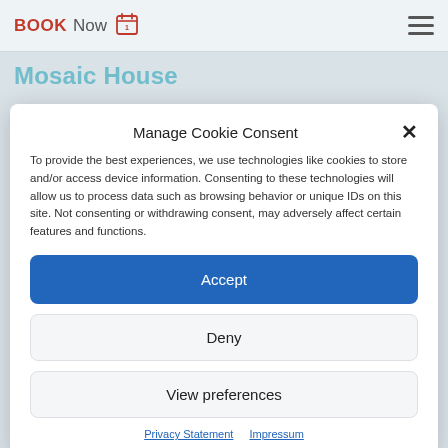BOOK Now [calendar icon] [hamburger menu]
Mosaic House
Manage Cookie Consent
To provide the best experiences, we use technologies like cookies to store and/or access device information. Consenting to these technologies will allow us to process data such as browsing behavior or unique IDs on this site. Not consenting or withdrawing consent, may adversely affect certain features and functions.
Accept
Deny
View preferences
Privacy Statement   Impressum